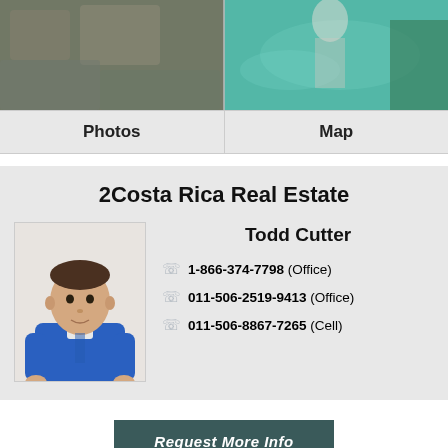[Figure (photo): Property photo showing pool/water feature with stone surroundings, split into two panels]
Photos
Map
2Costa Rica Real Estate
[Figure (photo): Headshot of Todd Cutter, a man in a blue polo shirt]
Todd Cutter
1-866-374-7798 (Office)
011-506-2519-9413 (Office)
011-506-8867-7265 (Cell)
Request More Info